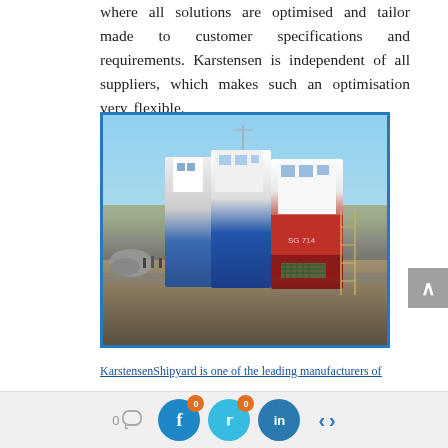where all solutions are optimised and tailor made to customer specifications and requirements. Karstensen is independent of all suppliers, which makes such an optimisation very flexible.
[Figure (photo): A harbor/shipyard scene showing large fishing or commercial vessels docked, with cranes in the background, scaffolding on the right side, and dock/quay in the foreground.]
KarstensenShipyard is one of the leading manufacturers of